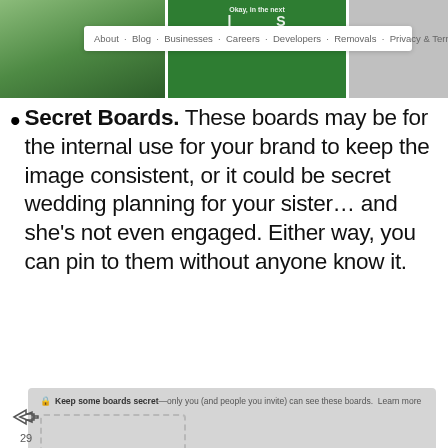[Figure (screenshot): Top portion showing a Pinterest-like interface with image strips and a navigation bar containing links: About, Blog, Businesses, Careers, Developers, Removals, Privacy & Terms]
Secret Boards. These boards may be for the internal use for your brand to keep the image consistent, or it could be secret wedding planning for your sister… and she's not even engaged. Either way, you can pin to them without anyone know it.
[Figure (screenshot): Pinterest secret boards UI showing a dashed-border box with a plus circle button and text 'Create a secret board', header text 'Keep some boards secret—only you (and people you invite) can see these boards. Learn more', scroll-to-top button and accessibility button]